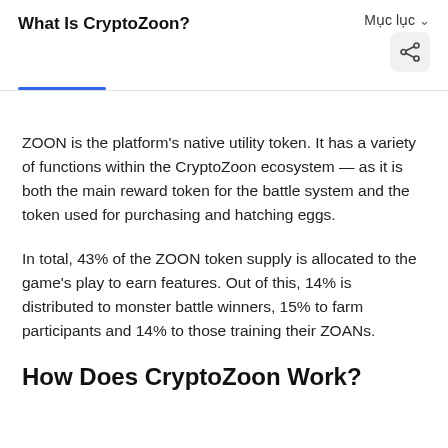What Is CryptoZoon?
Mục lục
ZOON is the platform's native utility token. It has a variety of functions within the CryptoZoon ecosystem — as it is both the main reward token for the battle system and the token used for purchasing and hatching eggs.
In total, 43% of the ZOON token supply is allocated to the game's play to earn features. Out of this, 14% is distributed to monster battle winners, 15% to farm participants and 14% to those training their ZOANs.
How Does CryptoZoon Work?